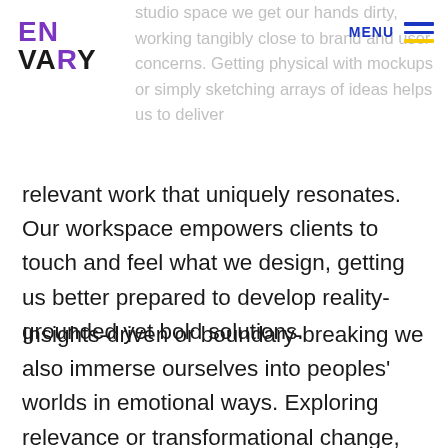studio space we get our hands dirty, working tangibly close to brand and user concerns. Getting physical with mockups or simply sketching arrays of ideas helps us to deliver
[Figure (logo): ENVARY logo with EN in purple and VARY in black with purple R]
MENU with hamburger icon (blue and yellow lines)
relevant work that uniquely resonates. Our workspace empowers clients to touch and feel what we design, getting us better prepared to develop reality-grounded yet bold solutions.
Insights-driven or boundary-breaking we also immerse ourselves into peoples' worlds in emotional ways. Exploring relevance or transformational change, our team deeply digs into scenarios, discovers critical usage factors and trend futures or tangibly